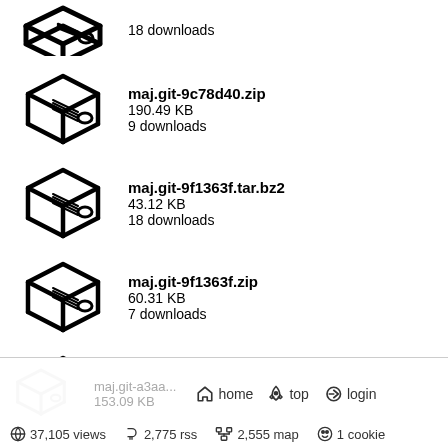18 downloads
maj.git-9c78d40.zip
190.49 KB
9 downloads
maj.git-9f1363f.tar.bz2
43.12 KB
18 downloads
maj.git-9f1363f.zip
60.31 KB
7 downloads
maj.git-a16c3eb.tar.bz2
90.22 KB
18 downloads
maj.git-a16c3eb.zip
128.62 KB
8 downloads
home   top   login   37,105 views   2,775 rss   2,555 map   1 cookie